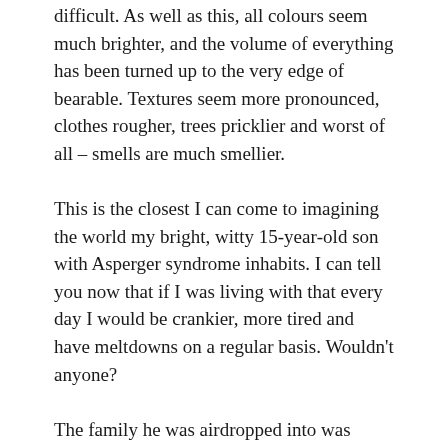difficult. As well as this, all colours seem much brighter, and the volume of everything has been turned up to the very edge of bearable. Textures seem more pronounced, clothes rougher, trees pricklier and worst of all – smells are much smellier.
This is the closest I can come to imagining the world my bright, witty 15-year-old son with Asperger syndrome inhabits. I can tell you now that if I was living with that every day I would be crankier, more tired and have meltdowns on a regular basis. Wouldn't anyone?
The family he was airdropped into was noisy, opinionated and busy. Oh, and blessed with a